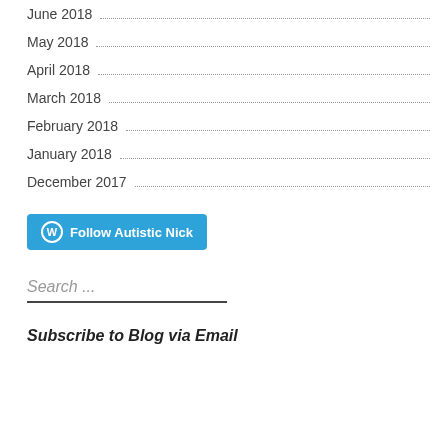June 2018
May 2018
April 2018
March 2018
February 2018
January 2018
December 2017
[Figure (other): Follow Autistic Nick button — WordPress follow button with W logo in a circle on a blue/teal background]
Search ...
Subscribe to Blog via Email